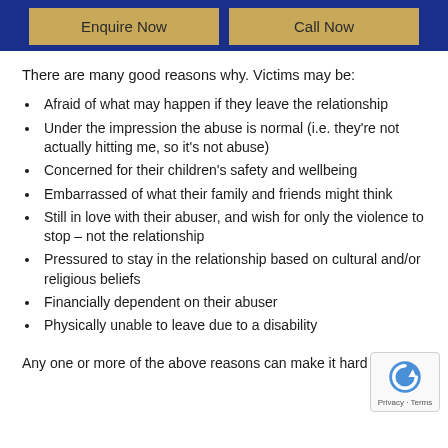Enquire Now | Call Now
There are many good reasons why. Victims may be:
Afraid of what may happen if they leave the relationship
Under the impression the abuse is normal (i.e. they're not actually hitting me, so it's not abuse)
Concerned for their children's safety and wellbeing
Embarrassed of what their family and friends might think
Still in love with their abuser, and wish for only the violence to stop – not the relationship
Pressured to stay in the relationship based on cultural and/or religious beliefs
Financially dependent on their abuser
Physically unable to leave due to a disability
Any one or more of the above reasons can make it hard